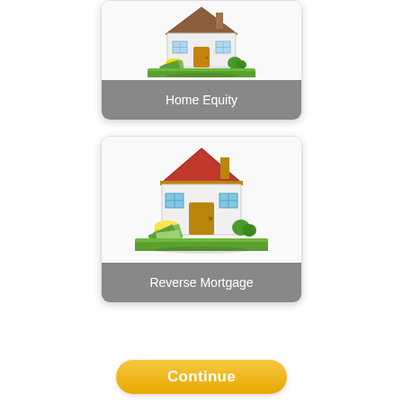[Figure (illustration): Card showing a house with coins and money illustration, labeled Home Equity]
[Figure (illustration): Card showing a house with coins and money illustration, labeled Reverse Mortgage]
Continue